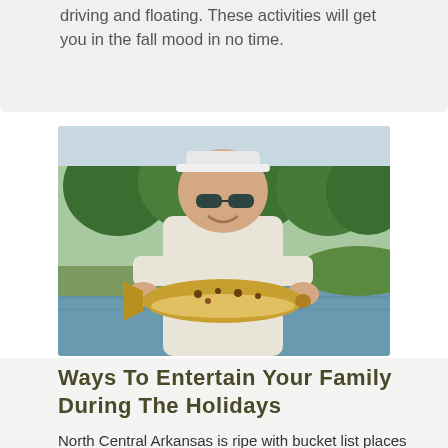driving and floating. These activities will get you in the fall mood in no time.
[Figure (photo): A man wearing a white cap and sunglasses holding a large brown trout fish, standing in front of a river with green trees in the background.]
Ways to Entertain Your Family During the Holidays
North Central Arkansas is ripe with bucket list places to visit any time of